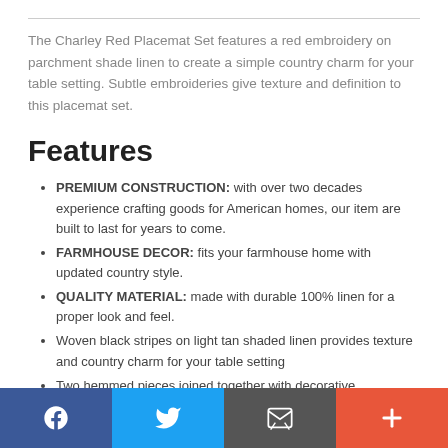The Charley Red Placemat Set features a red embroidery on parchment shade linen to create a simple country charm for your table setting. Subtle embroideries give texture and definition to this placemat set.
Features
PREMIUM CONSTRUCTION: with over two decades experience crafting goods for American homes, our item are built to last for years to come.
FARMHOUSE DECOR: fits your farmhouse home with updated country style.
QUALITY MATERIAL: made with durable 100% linen for a proper look and feel.
Woven black stripes on light tan shaded linen provides texture and country charm for your table setting
Two hemmed pieces joined together with decorative